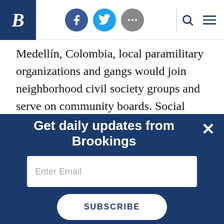Brookings Institution website header with logo B, social icons (Facebook, Twitter, more), search and menu icons
Medellín, Colombia, local paramilitary organizations and gangs would join neighborhood civil society groups and serve on community boards. Social workers in Medellin reported that residents would turn to the dominant criminal organization to settle disputes or to deal with petty crime because local inhabitants prefer swift (if sometimes violent)
[Figure (screenshot): Newsletter signup popup with dark navy background, title 'Get daily updates from Brookings', email input field with placeholder 'Enter Email', and a SUBSCRIBE button. Close (X) button in top right corner.]